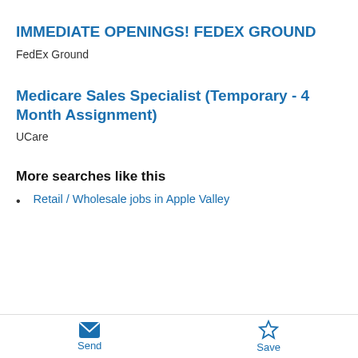IMMEDIATE OPENINGS! FEDEX GROUND
FedEx Ground
Medicare Sales Specialist (Temporary - 4 Month Assignment)
UCare
More searches like this
Retail / Wholesale jobs in Apple Valley
Send  Save